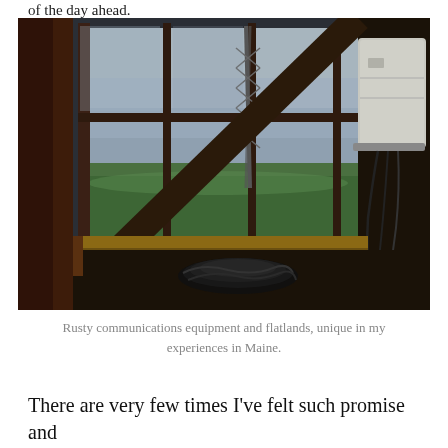of the day ahead.
[Figure (photo): Interior view from a fire tower cabin looking out large multi-pane windows onto a vast flat forested landscape. In the foreground, a communications equipment box is mounted on a diagonal metal pole. Coils of black cable sit on the floor. A metal lattice tower is visible through the windows. The sky is overcast.]
Rusty communications equipment and flatlands, unique in my experiences in Maine.
There are very few times I've felt such promise and